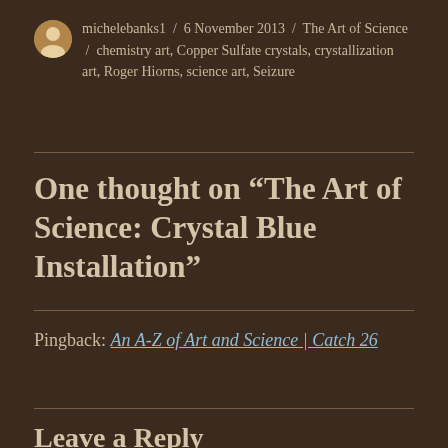michelebanks1 / 6 November 2013 / The Art of Science / chemistry art, Copper Sulfate crystals, crystallization art, Roger Hiorns, science art, Seizure
One thought on “The Art of Science: Crystal Blue Installation”
Pingback: An A-Z of Art and Science | Catch 26
Leave a Reply